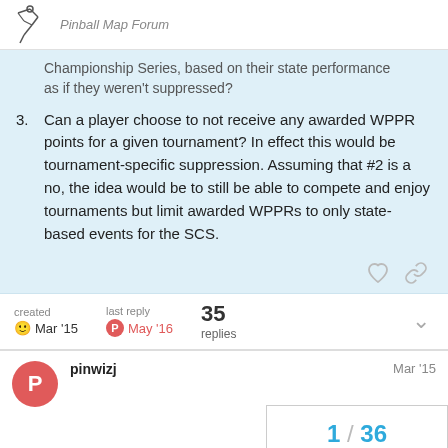Pinball Map Forum
Championship Series, based on their state performance as if they weren't suppressed?
3. Can a player choose to not receive any awarded WPPR points for a given tournament? In effect this would be tournament-specific suppression. Assuming that #2 is a no, the idea would be to still be able to compete and enjoy tournaments but limit awarded WPPRs to only state-based events for the SCS.
created Mar '15 | last reply May '16 | 35 replies
pinwizj  Mar '15
1 / 36